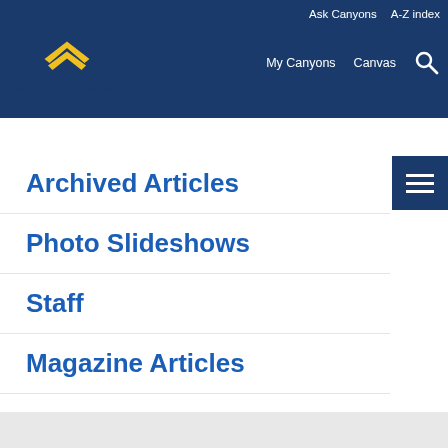Ask Canyons  A-Z index  My Canyons  Canvas
[Figure (logo): College of the Canyons logo with diamond shape in blue and gold]
Archived Articles
Photo Slideshows
Staff
Magazine Articles
PIO Releases
ASG
Photo Gallery